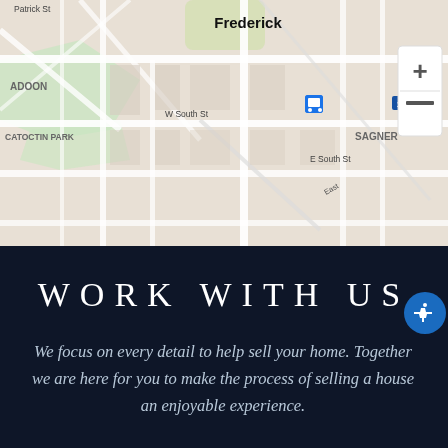[Figure (map): Google Maps screenshot showing Frederick, MD area with streets including Patrick St, W South St, E South St, neighborhoods ADOON, CATOCTIN PARK, SAGNER, zoom controls (+/-), Google logo, keyboard shortcuts, and map data copyright notice.]
WORK WITH US
We focus on every detail to help sell your home. Together we are here for you to make the process of selling a house an enjoyable experience.